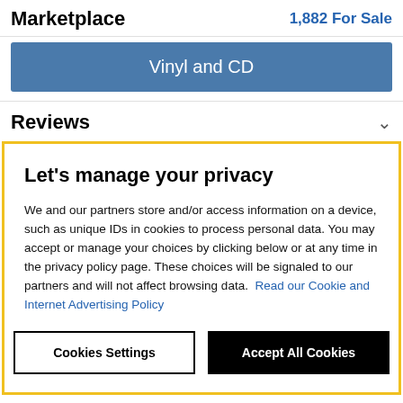Marketplace
1,882 For Sale
Vinyl and CD
Reviews
Let's manage your privacy
We and our partners store and/or access information on a device, such as unique IDs in cookies to process personal data. You may accept or manage your choices by clicking below or at any time in the privacy policy page. These choices will be signaled to our partners and will not affect browsing data. Read our Cookie and Internet Advertising Policy
Cookies Settings
Accept All Cookies